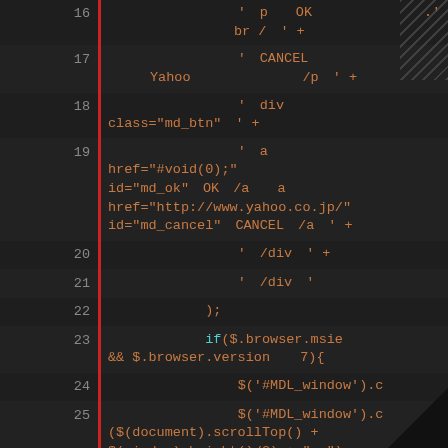[Figure (screenshot): Code editor screenshot showing JavaScript/HTML source code lines 16-25 with dark background, line numbers on left, red vertical bar separator. Code contains Japanese characters mixed with HTML strings and jQuery. Line 23 uses cyan 'if' keyword with $.browser.msie check.]